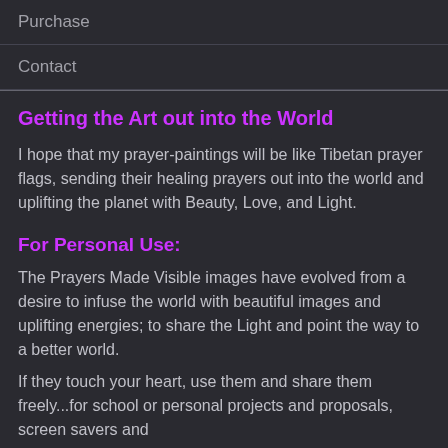Purchase
Contact
Getting the Art out into the World
I hope that my prayer-paintings will be like Tibetan prayer flags, sending their healing prayers out into the world and uplifting the planet with Beauty, Love, and Light.
For Personal Use:
The Prayers Made Visible images have evolved from a desire to infuse the world with beautiful images and uplifting energies; to share the Light and point the way to a better world.
If they touch your heart, use them and share them freely...for school or personal projects and proposals, screen savers and